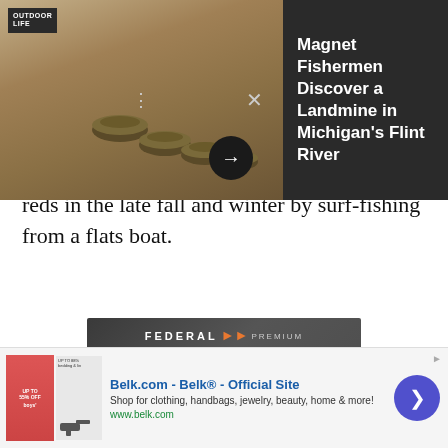[Figure (screenshot): Push notification overlay showing landmine image on left with Outdoor Life logo, and dark panel on right with article title 'Magnet Fishermen Discover a Landmine in Michigan's Flint River']
reds in the late fall and winter by surf-fishing from a flats boat.
[Figure (photo): Federal Premium Prairie Storm ammunition advertisement with copper pellets and a bird]
[Figure (screenshot): Belk.com advertisement - Belk® Official Site - Shop for clothing, handbags, jewelry, beauty, home & more! www.belk.com]